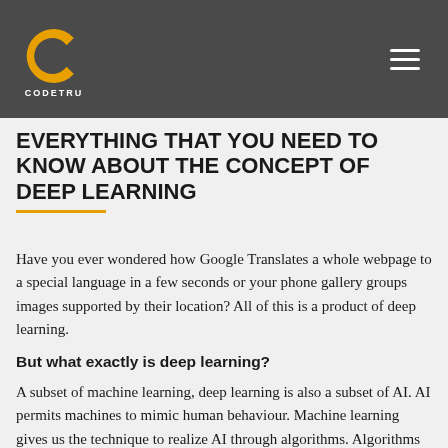CODETRU
EVERYTHING THAT YOU NEED TO KNOW ABOUT THE CONCEPT OF DEEP LEARNING
Have you ever wondered how Google Translates a whole webpage to a special language in a few seconds or your phone gallery groups images supported by their location? All of this is a product of deep learning.
But what exactly is deep learning?
A subset of machine learning, deep learning is also a subset of AI. AI permits machines to mimic human behaviour. Machine learning gives us the technique to realize AI through algorithms. Algorithms train with data and eventually develop a deep learning kind of machine learning, inspired by the structure of the human brain.